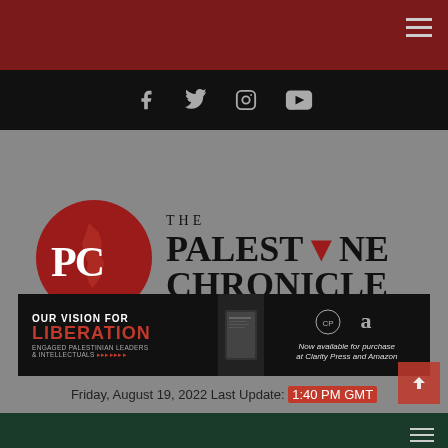[Figure (logo): The Palestine Chronicle logo: red circle with PC letters and a map of Palestine silhouette, next to large text 'THE PALESTINE CHRONICLE']
[Figure (infographic): Banner ad for book 'Our Vision for Liberation: Engaged Palestinian Leaders & Intellectuals' - available at Clarity Press and Amazon]
Friday, August 19, 2022 Last Update: 1:40 PM GMT